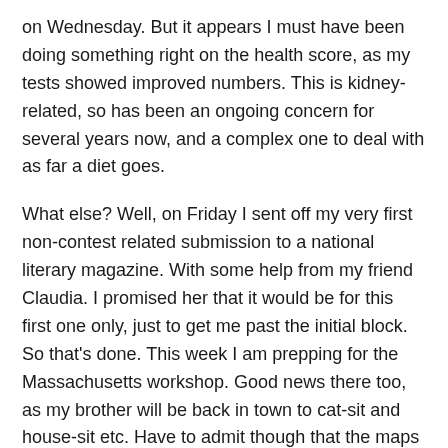on Wednesday. But it appears I must have been doing something right on the health score, as my tests showed improved numbers. This is kidney-related, so has been an ongoing concern for several years now, and a complex one to deal with as far a diet goes.
What else? Well, on Friday I sent off my very first non-contest related submission to a national literary magazine. With some help from my friend Claudia. I promised her that it would be for this first one only, just to get me past the initial block. So that's done. This week I am prepping for the Massachusetts workshop. Good news there too, as my brother will be back in town to cat-sit and house-sit etc. Have to admit though that the maps look rather confusing. Thank goodness for GPS.
I managed yesterday to catch up on both poetry